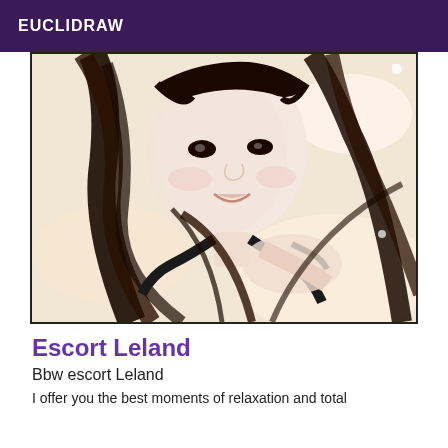EUCLIDRAW
[Figure (photo): A young woman with long dark hair lying down, smiling at the camera, wearing a dark top, light beige/warm background]
Escort Leland
Bbw escort Leland
I offer you the best moments of relaxation and total...